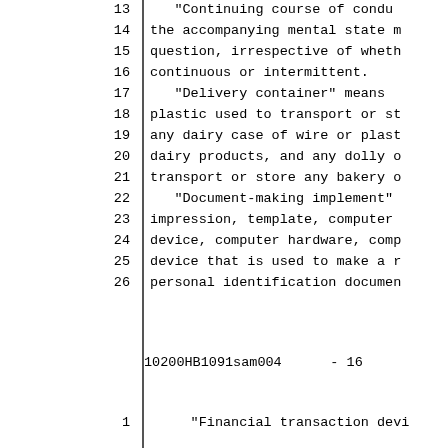13      "Continuing course of condu
14  the accompanying mental state m
15  question, irrespective of wheth
16  continuous or intermittent.
17      "Delivery container" means
18  plastic used to transport or st
19  any dairy case of wire or plast
20  dairy products, and any dolly o
21  transport or store any bakery o
22      "Document-making implement"
23  impression, template, computer
24  device, computer hardware, comp
25  device that is used to make a r
26  personal identification documen
10200HB1091sam004      - 16
1       "Financial transaction devi